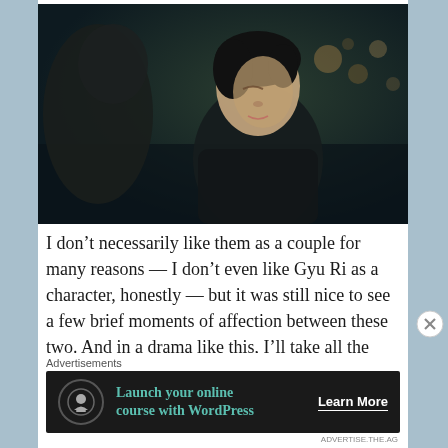[Figure (photo): Two people facing each other in a dark outdoor night scene, one with short dark hair visible in profile, bokeh lights in background]
I don't necessarily like them as a couple for many reasons — I don't even like Gyu Ri as a character, honestly — but it was still nice to see a few brief moments of affection between these two. And in a drama like this, I'll take all the softness I can get.
Advertisements
[Figure (screenshot): Advertisement banner: Launch your online course with WordPress — Learn More]